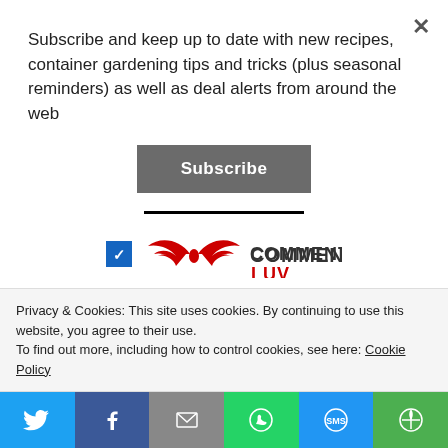Subscribe and keep up to date with new recipes, container gardening tips and tricks (plus seasonal reminders) as well as deal alerts from around the web
[Figure (screenshot): Subscribe button — dark grey rounded rectangle with white bold text 'Subscribe']
[Figure (logo): CommentLuv logo with red wing graphic and text COMMENTLUV, with a blue checkbox to the left]
This site uses Akismet to reduce spam. Learn how your comment data is processed.
Privacy & Cookies: This site uses cookies. By continuing to use this website, you agree to their use.
To find out more, including how to control cookies, see here: Cookie Policy
[Figure (infographic): Social share bar with 6 buttons: Twitter (light blue), Facebook (dark blue), Email (grey), WhatsApp (green), SMS (blue), More (green)]